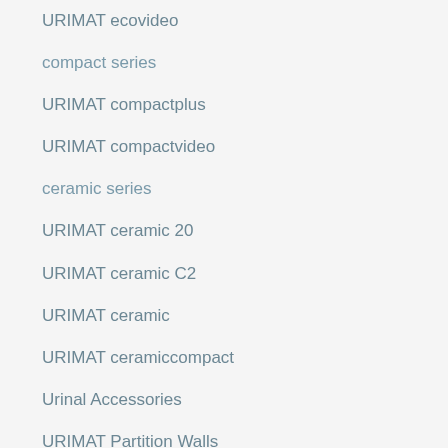URIMAT ecovideo
compact series
URIMAT compactplus
URIMAT compactvideo
ceramic series
URIMAT ceramic 20
URIMAT ceramic C2
URIMAT ceramic
URIMAT ceramiccompact
Urinal Accessories
URIMAT Partition Walls
We use cookies to ensure you get the best experience on our website.
Cookie settings
Accept cookies